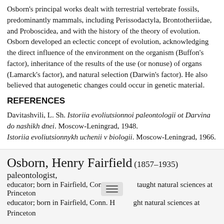Osborn's principal works dealt with terrestrial vertebrate fossils, predominantly mammals, including Perissodactyla, Brontotheriidae, and Proboscidea, and with the history of the theory of evolution. Osborn developed an eclectic concept of evolution, acknowledging the direct influence of the environment on the organism (Buffon's factor), inheritance of the results of the use (or nonuse) of organs (Lamarck's factor), and natural selection (Darwin's factor). He also believed that autogenetic changes could occur in genetic material.
REFERENCES
Davitashvili, L. Sh. Istoriia evoliutsionnoi paleontologii ot Darvina do nashikh dnei. Moscow-Leningrad, 1948.
Istoriia evoliutsionnykh uchenii v biologii. Moscow-Leningrad, 1966.
"CITE" 🔗 The Great Soviet Encyclopedia, 3rd Edition (1970-1979). © 2010 The Gale Group, Inc. All rights reserved.
Osborn, Henry Fairfield (1857–1935) paleontologist, educator; born in Fairfield, Conn. He taught natural sciences at Princeton